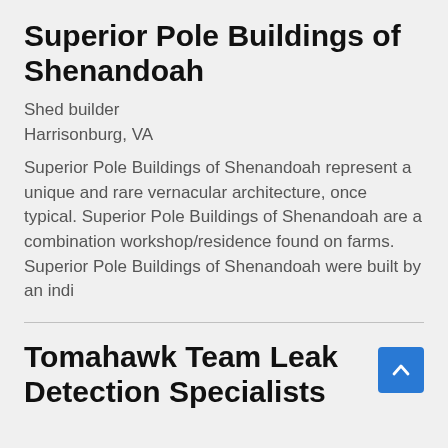Superior Pole Buildings of Shenandoah
Shed builder
Harrisonburg, VA
Superior Pole Buildings of Shenandoah represent a unique and rare vernacular architecture, once typical. Superior Pole Buildings of Shenandoah are a combination workshop/residence found on farms. Superior Pole Buildings of Shenandoah were built by an indi
Tomahawk Team Leak Detection Specialists